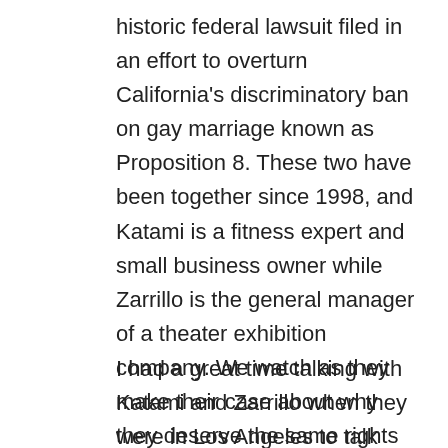historic federal lawsuit filed in an effort to overturn California's discriminatory ban on gay marriage known as Proposition 8. These two have been together since 1998, and Katami is a fitness expert and small business owner while Zarrillo is the general manager of a theater exhibition company. We watch as they make their case about why they deserve the same rights as anyone else who wants to get married, and we revel in their victory which makes for a genuinely happy Hollywood ending of sorts.
I had a great time talking with Katami and Zarrillo when they were in Los Angeles to talk about their involvement in “The Case Against